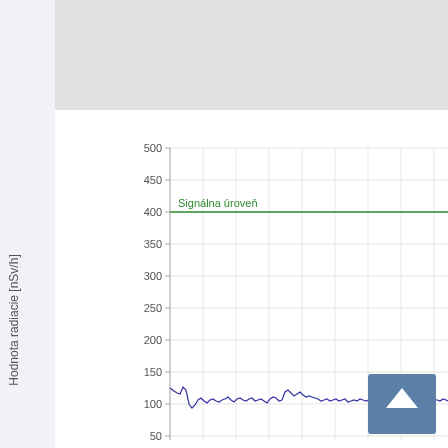[Figure (continuous-plot): Line chart showing radiation values (Hodnota radiacie) in nSv/h over time. A horizontal green line labeled 'Signálna úroveň' is drawn at 400 nSv/h. A blue line showing actual radiation readings fluctuates around 100-125 nSv/h. Y-axis ranges from approximately 50 to 500 nSv/h with gridlines at 50, 100, 150, 200, 250, 300, 350, 400, 450, 500.]